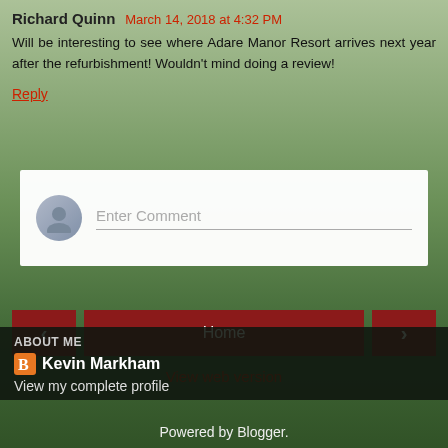Richard Quinn  March 14, 2018 at 4:32 PM
Will be interesting to see where Adare Manor Resort arrives next year after the refurbishment! Wouldn't mind doing a review!
Reply
[Figure (screenshot): Enter Comment input box with avatar icon]
[Figure (screenshot): Navigation bar with left arrow, Home button, and right arrow buttons]
View web version
ABOUT ME
Kevin Markham
View my complete profile
Powered by Blogger.